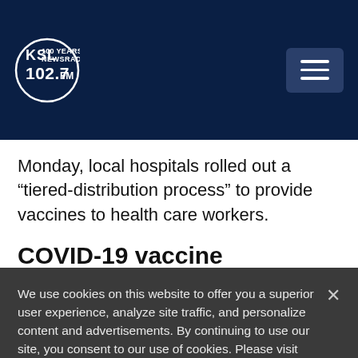KSL NewsRadio 102.7FM
Monday, local hospitals rolled out a “tiered-distribution process” to provide vaccines to health care workers.
COVID-19 vaccine distribution in Utah
We use cookies on this website to offer you a superior user experience, analyze site traffic, and personalize content and advertisements. By continuing to use our site, you consent to our use of cookies. Please visit our Privacy Policy for more information.
Accept Cookies